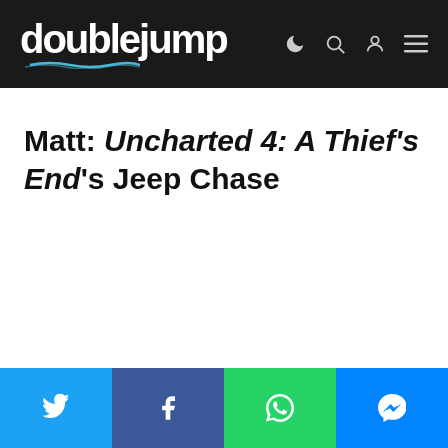doublejump
Matt: Uncharted 4: A Thief's End's Jeep Chase